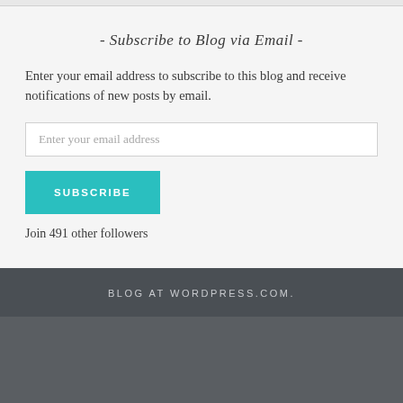- Subscribe to Blog via Email -
Enter your email address to subscribe to this blog and receive notifications of new posts by email.
Enter your email address
SUBSCRIBE
Join 491 other followers
BLOG AT WORDPRESS.COM.